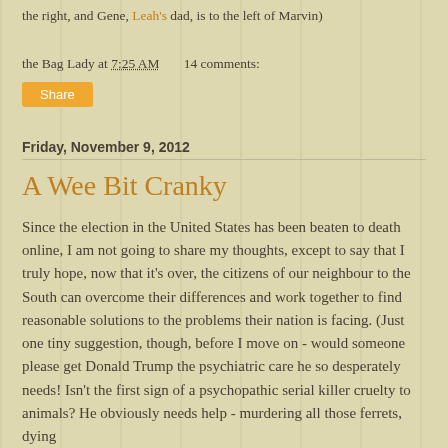the right, and Gene, Leah's dad, is to the left of Marvin)
the Bag Lady at 7:25 AM    14 comments:
Share
Friday, November 9, 2012
A Wee Bit Cranky
Since the election in the United States has been beaten to death online, I am not going to share my thoughts, except to say that I truly hope, now that it's over, the citizens of our neighbour to the South can overcome their differences and work together to find reasonable solutions to the problems their nation is facing. (Just one tiny suggestion, though, before I move on - would someone please get Donald Trump the psychiatric care he so desperately needs! Isn't the first sign of a psychopathic serial killer cruelty to animals? He obviously needs help - murdering all those ferrets, dying